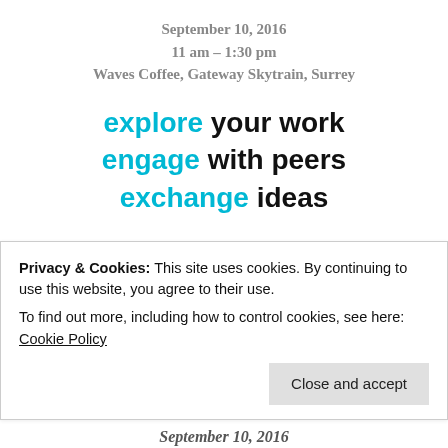September 10, 2016
11 am – 1:30 pm
Waves Coffee, Gateway Skytrain, Surrey
explore your work
engage with peers
exchange ideas
Resource Person Kevin Spenst
Facilitator Helga Parekh
Co-Facilitator Sonja Grgar
bring a poem, story, memoir, article
rant, novel, scribble, squiggle
Privacy & Cookies: This site uses cookies. By continuing to use this website, you agree to their use.
To find out more, including how to control cookies, see here: Cookie Policy
September 10, 2016